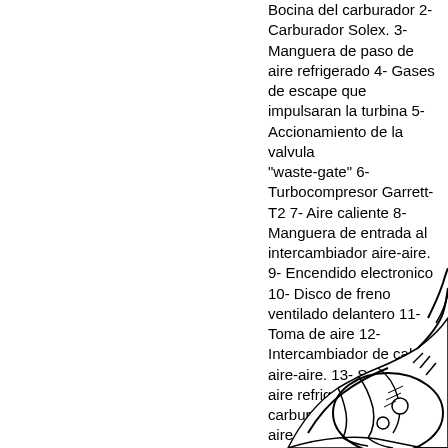Bocina del carburador 2- Carburador Solex. 3- Manguera de paso de aire refrigerado 4- Gases de escape que impulsaran la turbina 5- Accionamiento de la valvula "waste-gate" 6- Turbocompresor Garrett-T2 7- Aire caliente 8- Manguera de entrada al intercambiador aire-aire. 9- Encendido electronico 10- Disco de freno ventilado delantero 11- Toma de aire 12- Intercambiador de calor aire-aire. 13- Salida de aire refrigerado hacia el carburador 14- Filtro de aire 15- Conducto de aire 16- Sensor que detecta la detonacion pistoneo 17- Intercambiador de calor aceite-aire
[Figure (illustration): Black and white line drawing of a mechanical engine component, partially visible in the bottom-right corner of the page.]